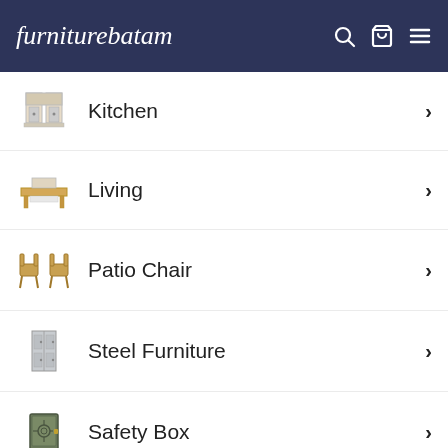furniturebatam
Kitchen
Living
Patio Chair
Steel Furniture
Safety Box
Contact
About Us
Our Story
Customer Support
Term and conditions